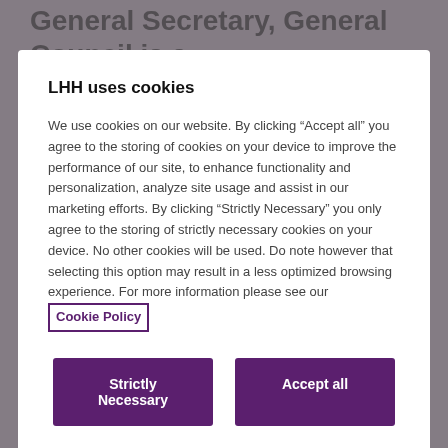General Secretary, General Council is a permanent position, providing leadership in
LHH uses cookies
We use cookies on our website. By clicking “Accept all” you agree to the storing of cookies on your device to improve the performance of our site, to enhance functionality and personalization, analyze site usage and assist in our marketing efforts. By clicking “Strictly Necessary” you only agree to the storing of strictly necessary cookies on your device. No other cookies will be used. Do note however that selecting this option may result in a less optimized browsing experience. For more information please see our Cookie Policy
Strictly Necessary
Accept all
Cookies Settings
resources for the church and initiates advocacy campaigns for the denomination. He has been in that role for eight years